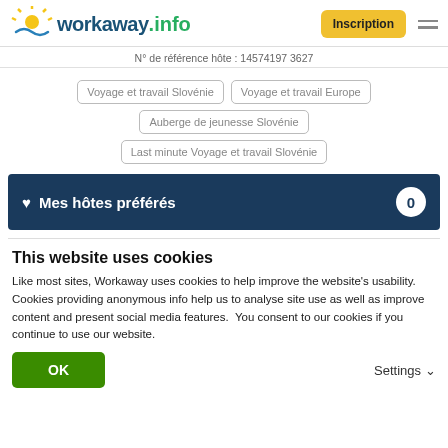workaway.info — Inscription
N° de référence hôte : 14574197 3627
Voyage et travail Slovénie
Voyage et travail Europe
Auberge de jeunesse Slovénie
Last minute Voyage et travail Slovénie
♥ Mes hôtes préférés — 0
This website uses cookies
Like most sites, Workaway uses cookies to help improve the website's usability. Cookies providing anonymous info help us to analyse site use as well as improve content and present social media features.  You consent to our cookies if you continue to use our website.
OK
Settings